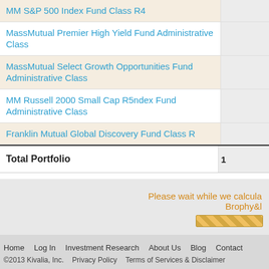| Fund Name | Value |
| --- | --- |
| MM S&P 500 Index Fund Class R4 |  |
| MassMutual Premier High Yield Fund Administrative Class |  |
| MassMutual Select Growth Opportunities Fund Administrative Class |  |
| MM Russell 2000 Small Cap R5ndex Fund Administrative Class |  |
| Franklin Mutual Global Discovery Fund Class R |  |
| Total Portfolio | 1 |
Please wait while we calculate Brophy&...
Home  Log In  Investment Research  About Us  Blog  Contact  ©2013 Kivalia, Inc.  Privacy Policy  Terms of Services & Disclaimer